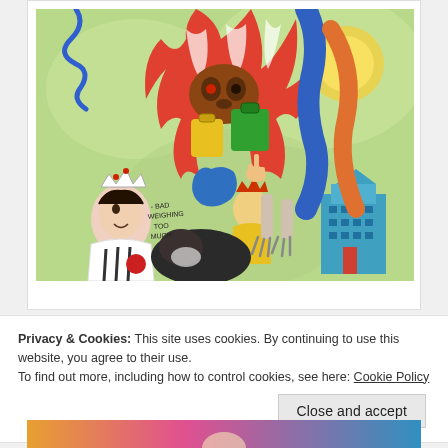[Figure (illustration): Colorful, expressive painting with abstract figures: a creature with striped body carrying colorful bags, two crowned figures, a blue building, and text reading 'BAD WEIGHING TOO MUCH' on a green background.]
Privacy & Cookies: This site uses cookies. By continuing to use this website, you agree to their use.
To find out more, including how to control cookies, see here: Cookie Policy
Close and accept
[Figure (photo): Partial bottom strip showing the top of another image, appears to be a person with colorful background.]